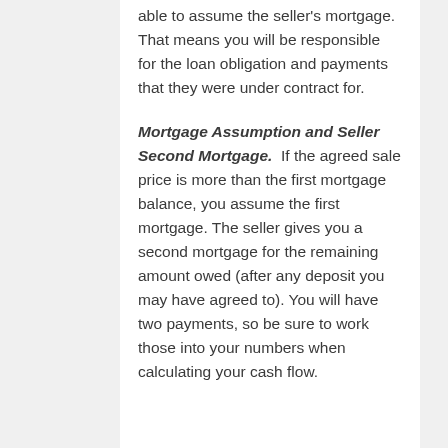able to assume the seller's mortgage. That means you will be responsible for the loan obligation and payments that they were under contract for.
Mortgage Assumption and Seller Second Mortgage.  If the agreed sale price is more than the first mortgage balance, you assume the first mortgage. The seller gives you a second mortgage for the remaining amount owed (after any deposit you may have agreed to). You will have two payments, so be sure to work those into your numbers when calculating your cash flow.